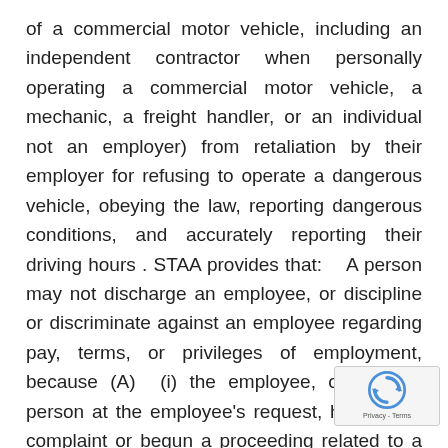of a commercial motor vehicle, including an independent contractor when personally operating a commercial motor vehicle, a mechanic, a freight handler, or an individual not an employer) from retaliation by their employer for refusing to operate a dangerous vehicle, obeying the law, reporting dangerous conditions, and accurately reporting their driving hours . STAA provides that:   A person may not discharge an employee, or discipline or discriminate against an employee regarding pay, terms, or privileges of employment, because (A)  (i) the employee, or another person at the employee's request, has filed a complaint or begun a proceeding related to a violation of a commercial motor vehicle safety or security regulation, standard, or order, or has testified or will testify in such a proceeding; or  (ii) the person perceives that the employee has filed or is about to file a complaint or has begun or is about to begin a proceeding related to a violation of a commercial motor vehicle safety or security regulation, standard, or
[Figure (other): reCAPTCHA logo overlay with Privacy - Terms text in lower right corner]